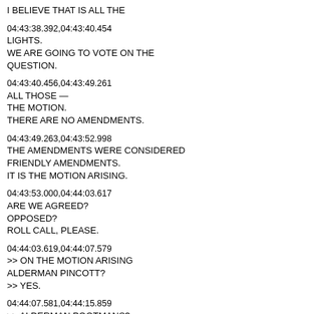I BELIEVE THAT IS ALL THE
04:43:38.392,04:43:40.454
LIGHTS.
WE ARE GOING TO VOTE ON THE QUESTION.
04:43:40.456,04:43:49.261
ALL THOSE —
THE MOTION.
THERE ARE NO AMENDMENTS.
04:43:49.263,04:43:52.998
THE AMENDMENTS WERE CONSIDERED FRIENDLY AMENDMENTS.
IT IS THE MOTION ARISING.
04:43:53.000,04:44:03.617
ARE WE AGREED?
OPPOSED?
ROLL CALL, PLEASE.
04:44:03.619,04:44:07.579
>> ON THE MOTION ARISING ALDERMAN PINCOTT?
>> YES.
04:44:07.581,04:44:15.859
>> ALDERMAN POOTMANS?